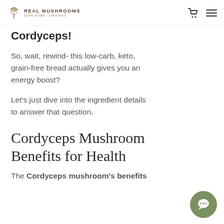REAL MUSHROOMS
Cordyceps!
So, wait, rewind- this low-carb, keto, grain-free bread actually gives you an energy boost?
Let's just dive into the ingredient details to answer that question.
Cordyceps Mushroom Benefits for Health
The Cordyceps mushroom's benefits